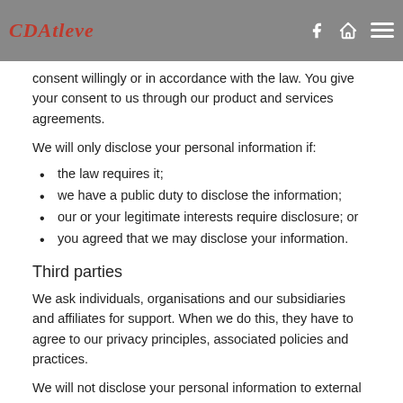CDAtleve [logo] [icons]
consent willingly or in accordance with the law. You give your consent to us through our product and services agreements.
We will only disclose your personal information if:
the law requires it;
we have a public duty to disclose the information;
our or your legitimate interests require disclosure; or
you agreed that we may disclose your information.
Third parties
We ask individuals, organisations and our subsidiaries and affiliates for support. When we do this, they have to agree to our privacy principles, associated policies and practices.
We will not disclose your personal information to external organisations that are not our service providers, unless you gave us your consent, or unless we may do so by law, or if it is necessary for the conclusion or performance of our agreement with you.
Transfer across borders
Sometimes we will process your personal information in other countries, either to carry out your instructions or for ordinary